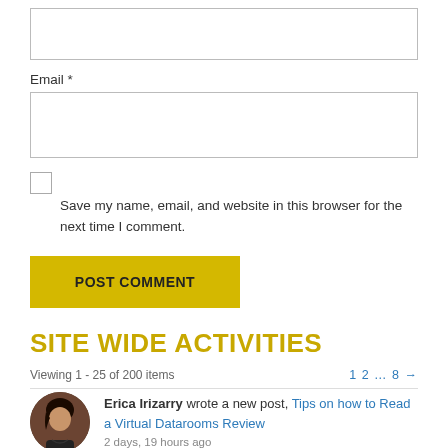[Figure (other): Empty text input box at top of page (name/comment field)]
Email *
[Figure (other): Email input text box]
[Figure (other): Checkbox (unchecked)]
Save my name, email, and website in this browser for the next time I comment.
[Figure (other): POST COMMENT yellow button]
SITE WIDE ACTIVITIES
Viewing 1 - 25 of 200 items
1 2 … 8 →
Erica Irizarry wrote a new post, Tips on how to Read a Virtual Datarooms Review
2 days, 19 hours ago